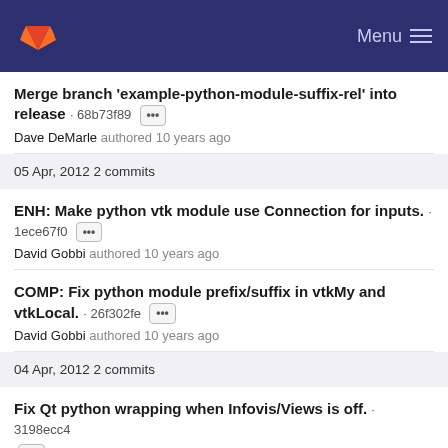GitLab — Menu
Merge branch 'example-python-module-suffix-rel' into release · 68b73f89 [···]
Dave DeMarle authored 10 years ago
05 Apr, 2012 2 commits
ENH: Make python vtk module use Connection for inputs. · 1ece67f0 [···]
David Gobbi authored 10 years ago
COMP: Fix python module prefix/suffix in vtkMy and vtkLocal. · 26f302fe [···]
David Gobbi authored 10 years ago
04 Apr, 2012 2 commits
Fix Qt python wrapping when Infovis/Views is off. · 3198ecc4 [···]
Clinton Stimpson authored 10 years ago